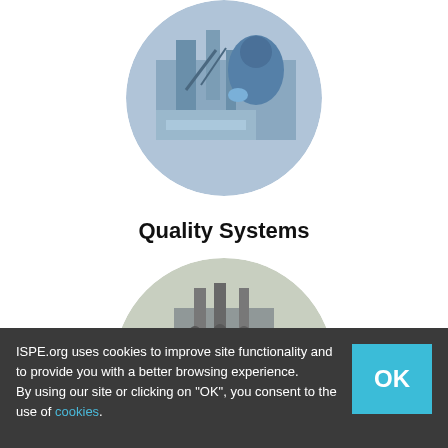[Figure (photo): Circular cropped photo of a person in blue cleanroom suit working with laboratory or manufacturing equipment]
Quality Systems
[Figure (photo): Circular cropped photo of pharmaceutical vials with yellow caps on a production line conveyor]
ISPE.org uses cookies to improve site functionality and to provide you with a better browsing experience.
By using our site or clicking on "OK", you consent to the use of cookies.